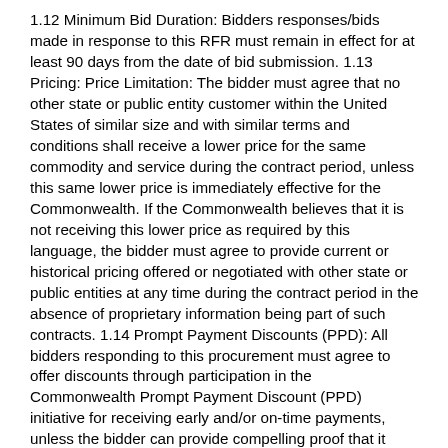1.12 Minimum Bid Duration: Bidders responses/bids made in response to this RFR must remain in effect for at least 90 days from the date of bid submission. 1.13 Pricing: Price Limitation: The bidder must agree that no other state or public entity customer within the United States of similar size and with similar terms and conditions shall receive a lower price for the same commodity and service during the contract period, unless this same lower price is immediately effective for the Commonwealth. If the Commonwealth believes that it is not receiving this lower price as required by this language, the bidder must agree to provide current or historical pricing offered or negotiated with other state or public entities at any time during the contract period in the absence of proprietary information being part of such contracts. 1.14 Prompt Payment Discounts (PPD): All bidders responding to this procurement must agree to offer discounts through participation in the Commonwealth Prompt Payment Discount (PPD) initiative for receiving early and/or on-time payments, unless the bidder can provide compelling proof that it would be unduly burdensome. PPD benefits both contractors and the Commonwealth. Contractors benefit by increased, usable cash flow as a result of fast and efficient payments for commodities or services rendered. Participation in the Electronic Funds Transfer initiative further maximizes the benefits with payments directed to designated accounts, thus eliminating